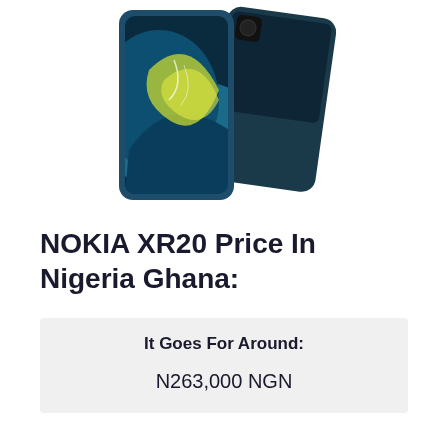[Figure (photo): Nokia XR20 smartphone shown from front and back, with teal/blue color and rugged design]
NOKIA XR20 Price In Nigeria Ghana:
| It Goes For Around: |
| --- |
| N263,000 NGN |